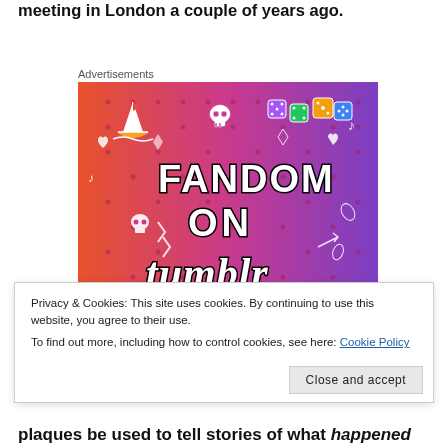meeting in London a couple of years ago.
Advertisements
[Figure (illustration): Fandom on tumblr advertisement banner with colorful gradient background (orange to purple) and doodle icons including a sailboat, skull, dice, and the text FANDOM ON tumblr in bold 3D letters.]
Privacy & Cookies: This site uses cookies. By continuing to use this website, you agree to their use.
To find out more, including how to control cookies, see here: Cookie Policy
Close and accept
plaques be used to tell stories of what happened